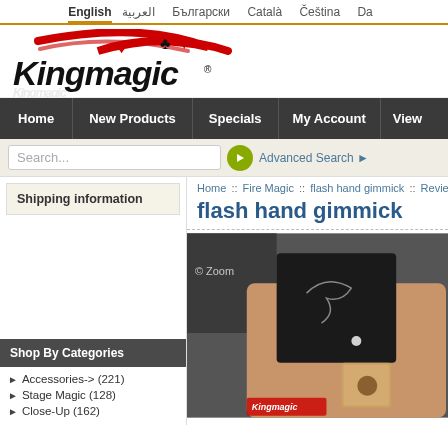English | العربية | Български | Català | Čeština | Da
[Figure (logo): Kingmagic logo with red swoosh and playing card suits]
Home | New Products | Specials | My Account | View
Search... Advanced Search
Shipping information
Home :: Fire Magic :: flash hand gimmick :: Review
flash hand gimmick
[Figure (photo): Product photo of flash hand gimmick - black box device held in hand with a small golden cube accessory]
Shop By Categories
Accessories-> (221)
Stage Magic (128)
Close-Up (162)